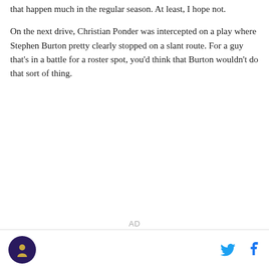that happen much in the regular season. At least, I hope not.
On the next drive, Christian Ponder was intercepted on a play where Stephen Burton pretty clearly stopped on a slant route. For a guy that's in a battle for a roster spot, you'd think that Burton wouldn't do that sort of thing.
AD
[Figure (logo): Sports website logo — circular dark purple badge with a figure illustration]